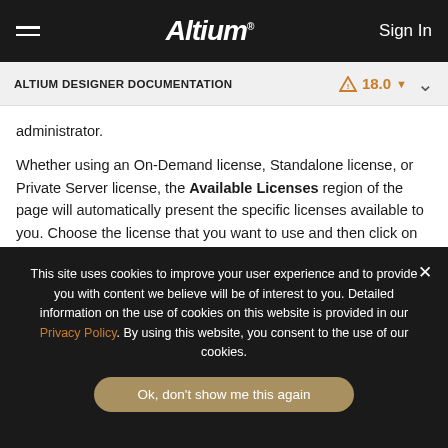≡   Altium®   Sign In
ALTIUM DESIGNER DOCUMENTATION   ⚠ 18.0 ▾   ∨
administrator.
Whether using an On-Demand license, Standalone license, or Private Server license, the Available Licenses region of the page will automatically present the specific licenses available to you. Choose the license that you want to use and then click on the applicable command, depending on how you want to use that license.
This site uses cookies to improve your user experience and to provide you with content we believe will be of interest to you. Detailed information on the use of cookies on this website is provided in our Privacy Policy. By using this website, you consent to the use of our cookies.

Ok, don't show me this again